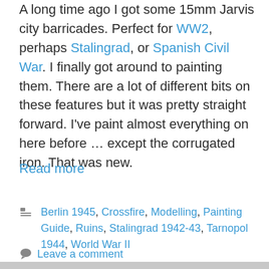A long time ago I got some 15mm Jarvis city barricades. Perfect for WW2, perhaps Stalingrad, or Spanish Civil War. I finally got around to painting them. There are a lot of different bits on these features but it was pretty straight forward. I've paint almost everything on here before … except the corrugated iron. That was new.
Read more
Categories: Berlin 1945, Crossfire, Modelling, Painting Guide, Ruins, Stalingrad 1942-43, Tarnopol 1944, World War II
Leave a comment